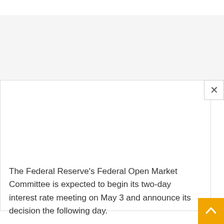[Figure (other): Top navigation bar / page header area with a horizontal divider line]
[Figure (other): Advertisement or image placeholder area (gray background, blank)]
[Figure (other): Modal or popup overlay area (white box with close X button in top right)]
The Federal Reserve's Federal Open Market Committee is expected to begin its two-day interest rate meeting on May 3 and announce its decision the following day.
Fed policymakers appear to be ready to announce a series of...